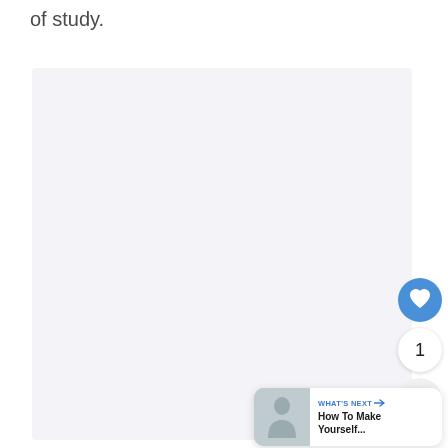of study.
[Figure (other): Large light gray content area placeholder box]
[Figure (other): Blue circular heart/favorite button icon]
1
[Figure (other): White circular share button icon]
[Figure (other): What's Next card with thumbnail, label 'WHAT'S NEXT' and title 'How To Make Yourself...']